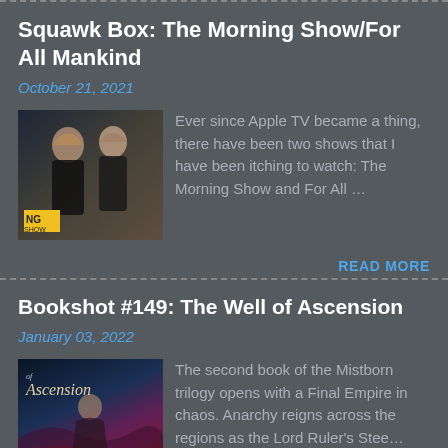Squawk Box: The Morning Show/For All Mankind
October 21, 2021
[Figure (photo): Thumbnail image for The Morning Show article showing two women in black outfits with NG SHOW label]
Ever since Apple TV became a thing, there have been two shows that I have been itching to watch: The Morning Show and For All …
READ MORE
Bookshot #149: The Well of Ascension
January 03, 2022
[Figure (photo): Book cover for The Well of Ascension from the Mistborn trilogy]
The second book of the Mistborn trilogy opens with a Final Empire in chaos. Anarchy reigns across the regions as the Lord Ruler's Stee…